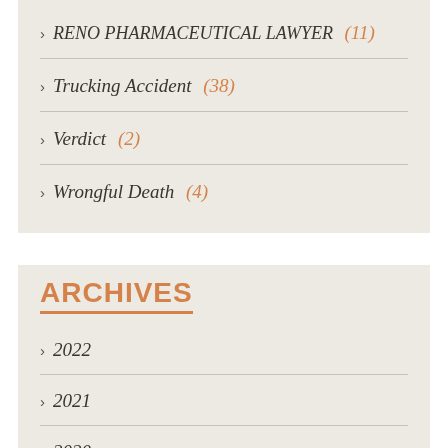RENO PHARMACEUTICAL LAWYER (11)
Trucking Accident (38)
Verdict (2)
Wrongful Death (4)
ARCHIVES
2022
2021
2020